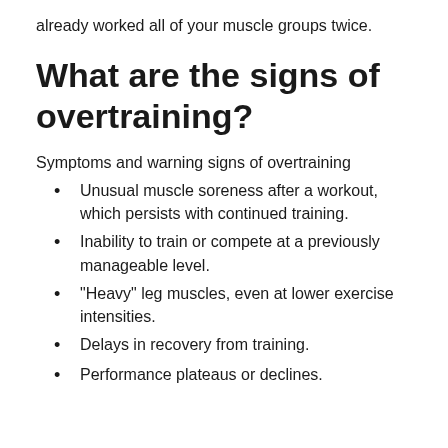already worked all of your muscle groups twice.
What are the signs of overtraining?
Symptoms and warning signs of overtraining
Unusual muscle soreness after a workout, which persists with continued training.
Inability to train or compete at a previously manageable level.
“Heavy” leg muscles, even at lower exercise intensities.
Delays in recovery from training.
Performance plateaus or declines.